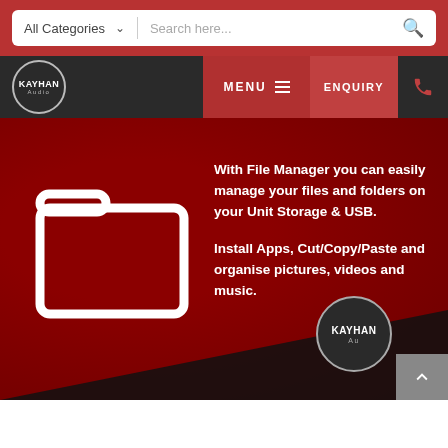[Figure (screenshot): Website header with search bar showing 'All Categories' dropdown and 'Search here...' input field with search icon on red background]
[Figure (screenshot): Navigation bar with Kayhan Audio logo on dark background, red MENU button with hamburger icon, red ENQUIRY button, and phone icon]
[Figure (illustration): White folder icon on dark red background]
With File Manager you can easily manage your files and folders on your Unit Storage & USB.

Install Apps, Cut/Copy/Paste and organise pictures, videos and music.
[Figure (logo): Kayhan Audio logo badge at bottom right of page]